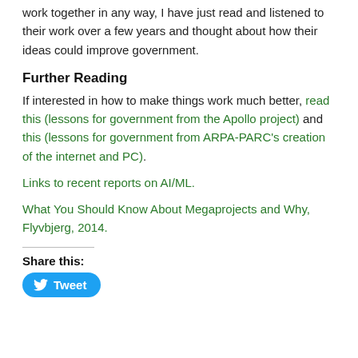work together in any way, I have just read and listened to their work over a few years and thought about how their ideas could improve government.
Further Reading
If interested in how to make things work much better, read this (lessons for government from the Apollo project) and this (lessons for government from ARPA-PARC's creation of the internet and PC).
Links to recent reports on AI/ML.
What You Should Know About Megaprojects and Why, Flyvbjerg, 2014.
Share this:
[Figure (other): Tweet button with Twitter bird icon]